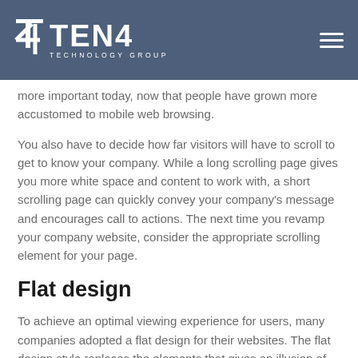TEN4 TECHNOLOGY GROUP
more important today, now that people have grown more accustomed to mobile web browsing.
You also have to decide how far visitors will have to scroll to get to know your company. While a long scrolling page gives you more white space and content to work with, a short scrolling page can quickly convey your company's message and encourages call to actions. The next time you revamp your company website, consider the appropriate scrolling element for your page.
Flat design
To achieve an optimal viewing experience for users, many companies adopted a flat design for their websites. The flat design style replaces the elements that gives an illusion of